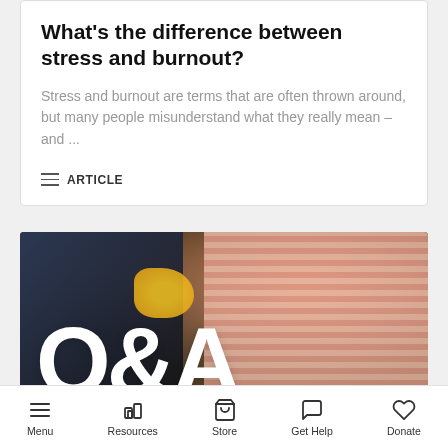What's the difference between stress and burnout?
Stress and burnout are terms that are often thrown around, but many people misunderstand what they really mean – and ...
ARTICLE
[Figure (photo): Photo of two children playing with a colorful toy, one wearing a striped pink/red shirt, overlaid with large white 'Q&A' letters at the bottom]
Menu   Resources   Store   Get Help   Donate